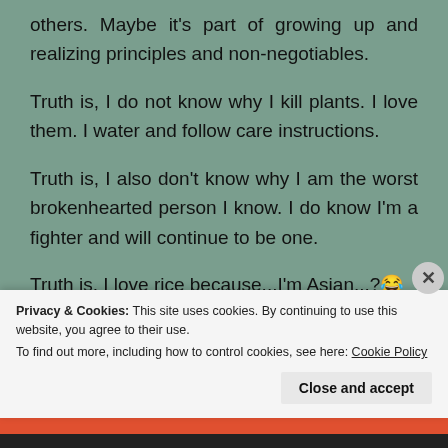others. Maybe it's part of growing up and realizing principles and non-negotiables.
Truth is, I do not know why I kill plants. I love them. I water and follow care instructions.
Truth is, I also don't know why I am the worst brokenhearted person I know. I do know I'm a fighter and will continue to be one.
Truth is, I love rice because...I'm Asian...?😂
Privacy & Cookies: This site uses cookies. By continuing to use this website, you agree to their use.
To find out more, including how to control cookies, see here: Cookie Policy